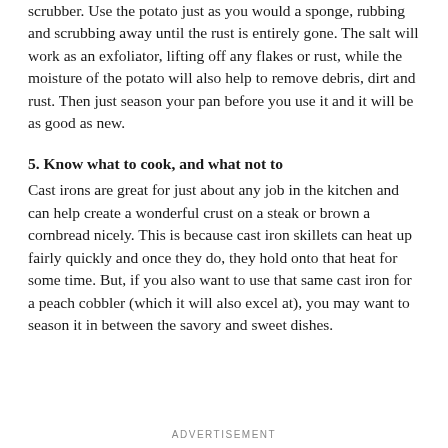scrubber. Use the potato just as you would a sponge, rubbing and scrubbing away until the rust is entirely gone. The salt will work as an exfoliator, lifting off any flakes or rust, while the moisture of the potato will also help to remove debris, dirt and rust. Then just season your pan before you use it and it will be as good as new.
5. Know what to cook, and what not to
Cast irons are great for just about any job in the kitchen and can help create a wonderful crust on a steak or brown a cornbread nicely. This is because cast iron skillets can heat up fairly quickly and once they do, they hold onto that heat for some time. But, if you also want to use that same cast iron for a peach cobbler (which it will also excel at), you may want to season it in between the savory and sweet dishes.
ADVERTISEMENT